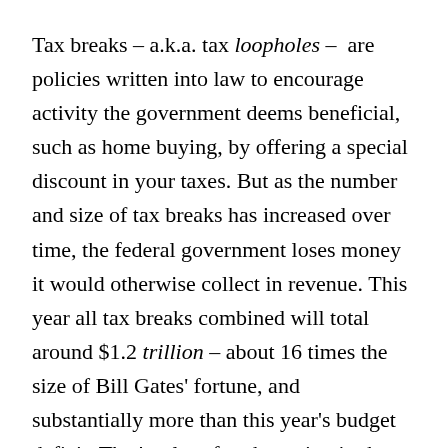Tax breaks – a.k.a. tax loopholes – are policies written into law to encourage activity the government deems beneficial, such as home buying, by offering a special discount in your taxes. But as the number and size of tax breaks has increased over time, the federal government loses money it would otherwise collect in revenue. This year all tax breaks combined will total around $1.2 trillion – about 16 times the size of Bill Gates' fortune, and substantially more than this year's budget deficit. That's a lot of cash staying in the pockets of taxpayers who would otherwise owe it to Uncle Sam.
As it happens, the top 10 tax breaks alone account for the vast majority – $900 billion – of that $1.2 trillion. And more than half of those $900 billion in benefits will accrue to the wealthiest 20 percent of households. Policies like the